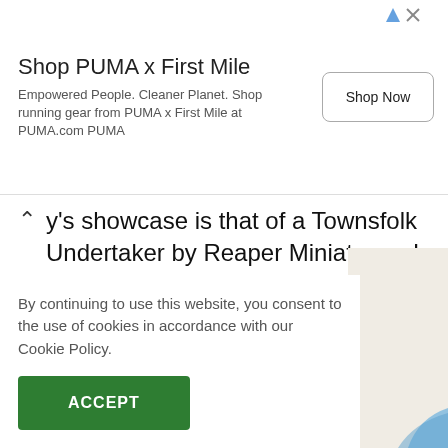[Figure (screenshot): Advertisement banner for PUMA x First Mile featuring title 'Shop PUMA x First Mile', body text 'Empowered People. Cleaner Planet. Shop running gear from PUMA x First Mile at PUMA.com PUMA', and a 'Shop Now' button.]
y's showcase is that of a Townsfolk Undertaker by Reaper Miniatures. I believe that I picked him up from RAFM Miniatures. The Townsfolk Undertaker by Reaper Miniatures. The Miniature This…
Continue Reading ›
By continuing to use this website, you consent to the use of cookies in accordance with our Cookie Policy.
ACCEPT